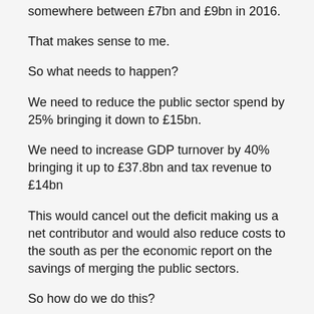somewhere between £7bn and £9bn in 2016.
That makes sense to me.
So what needs to happen?
We need to reduce the public sector spend by 25% bringing it down to £15bn.
We need to increase GDP turnover by 40% bringing it up to £37.8bn and tax revenue to £14bn
This would cancel out the deficit making us a net contributor and would also reduce costs to the south as per the economic report on the savings of merging the public sectors.
So how do we do this?
First of all, if both states got behind reunification it would boost inward investment and help boost growth.
London needs to be clear that England will not be subsidising unionist intransigence and encouraging them to either reconcile with the rest of the island or if their hatred of everything Irish is just too great, encourage them to relocate